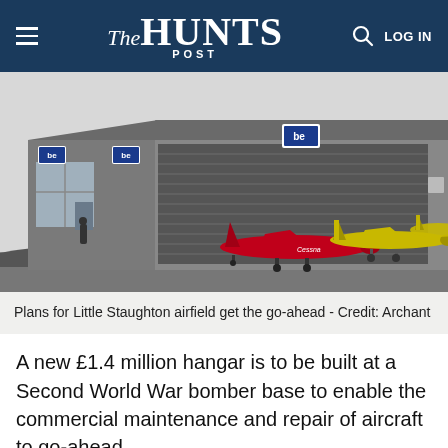The HUNTS POST
[Figure (illustration): Architectural rendering of a new aircraft hangar at Little Staughton airfield. Grey industrial building with large roller doors, small blue 'be' logo signs on facade, a red light aircraft parked in front and two yellow aircraft to the right on tarmac, against a light grey sky.]
Plans for Little Staughton airfield get the go-ahead - Credit: Archant
A new £1.4 million hangar is to be built at a Second World War bomber base to enable the commercial maintenance and repair of aircraft to go-ahead.